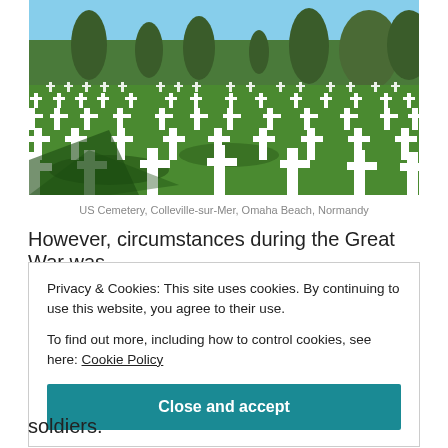[Figure (photo): Photograph of US Cemetery at Colleville-sur-Mer, Omaha Beach, Normandy. Rows of white crosses on green lawn with trees in background under blue sky.]
US Cemetery, Colleville-sur-Mer, Omaha Beach, Normandy
However, circumstances during the Great War was
Privacy & Cookies: This site uses cookies. By continuing to use this website, you agree to their use.
To find out more, including how to control cookies, see here: Cookie Policy
Close and accept
soldiers.